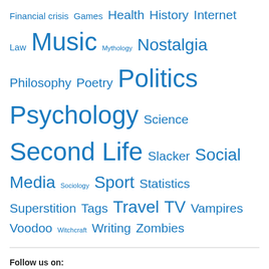Financial crisis Games Health History Internet Law Music Mythology Nostalgia Philosophy Poetry Politics Psychology Science Second Life Slacker Social Media Sociology Sport Statistics Superstition Tags Travel TV Vampires Voodoo Witchcraft Writing Zombies
Follow us on:
Facebook
Pinterest
Tumblr
Twitter